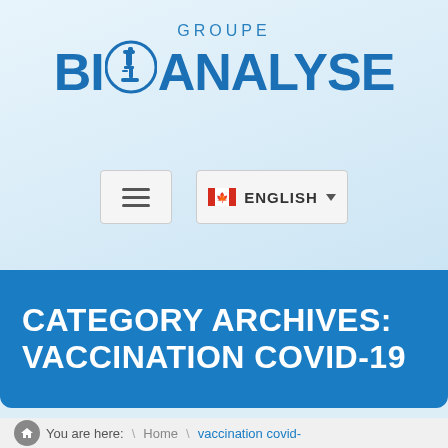[Figure (logo): Groupe Bioanalyse logo with microscope icon and text]
[Figure (screenshot): Navigation bar with hamburger menu and English language selector]
CATEGORY ARCHIVES: VACCINATION COVID-19
You are here: \ Home \ vaccination covid-